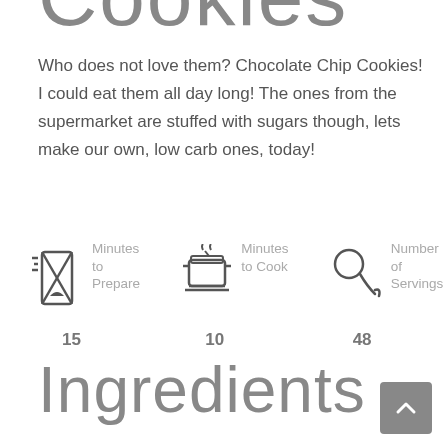Cookies
Who does not love them? Chocolate Chip Cookies! I could eat them all day long! The ones from the supermarket are stuffed with sugars though, lets make our own, low carb ones, today!
[Figure (infographic): Three info cells showing: hourglass icon with 'Minutes to Prepare' label and value 15; pot icon with 'Minutes to Cook' label and value 10; ladle icon with 'Number of Servings' label and value 48.]
Ingredients